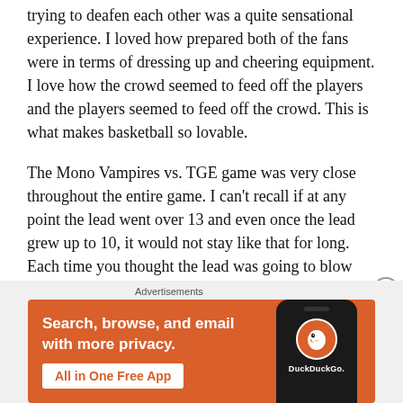trying to deafen each other was a quite sensational experience. I loved how prepared both of the fans were in terms of dressing up and cheering equipment. I love how the crowd seemed to feed off the players and the players seemed to feed off the crowd. This is what makes basketball so lovable.
The Mono Vampires vs. TGE game was very close throughout the entire game. I can't recall if at any point the lead went over 13 and even once the lead grew up to 10, it would not stay like that for long. Each time you thought the lead was going to blow away, a Vampire would make a huge play and bring them back in. Every
[Figure (screenshot): DuckDuckGo advertisement banner with orange background showing text 'Search, browse, and email with more privacy. All in One Free App' with a phone mockup showing the DuckDuckGo logo.]